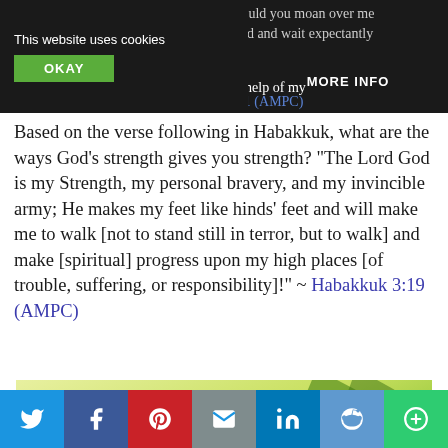cast down, O my inner self? And why should you moan over me and be disquieted within me? Hope in God and wait expectantly for Him, Who is the help of my countenance, and my God. ~ Psalm 42:11 (AMPC)
Based on the verse following in Habakkuk, what are the ways God's strength gives you strength? “The Lord God is my Strength, my personal bravery, and my invincible army; He makes my feet like hinds’ feet and will make me to walk [not to stand still in terror, but to walk] and make [spiritual] progress upon my high places [of trouble, suffering, or responsibility]!” ~ Habakkuk 3:19 (AMPC)
[Figure (illustration): Light green background with plant leaves, with text overlay reading 'Why are you cast down, O my inner self? And why should you moan over me']
Twitter | Facebook | Pinterest | Email | LinkedIn | Reddit | More